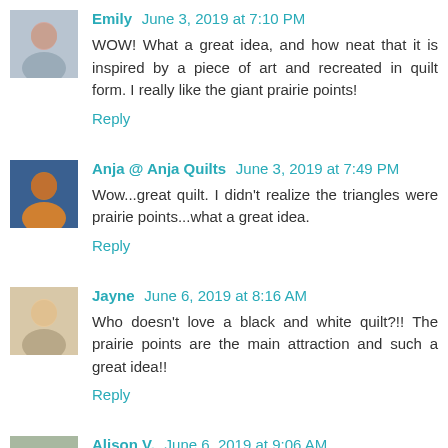Emily June 3, 2019 at 7:10 PM
WOW! What a great idea, and how neat that it is inspired by a piece of art and recreated in quilt form. I really like the giant prairie points!
Reply
Anja @ Anja Quilts June 3, 2019 at 7:49 PM
Wow...great quilt. I didn't realize the triangles were prairie points...what a great idea.
Reply
Jayne June 6, 2019 at 8:16 AM
Who doesn't love a black and white quilt?!! The prairie points are the main attraction and such a great idea!!
Reply
Alison V. June 6, 2019 at 9:06 AM